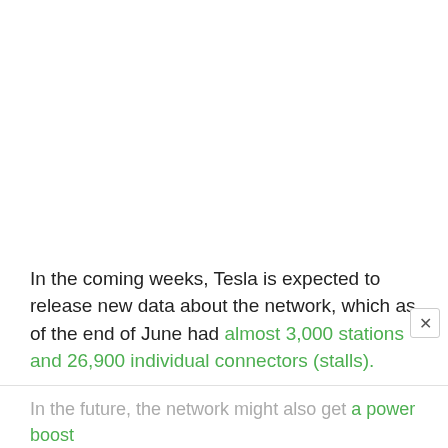In the coming weeks, Tesla is expected to release new data about the network, which as of the end of June had almost 3,000 stations and 26,900 individual connectors (stalls).
In the future, the network might also get a power boost